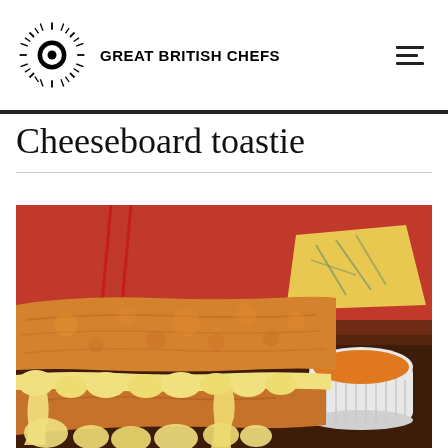GREAT BRITISH CHEFS
Cheeseboard toastie
[Figure (photo): A cheeseboard toastie sandwich with melted cheese oozing out from between golden-brown toasted bread slices, served on a dark wooden board with a wedge of blue cheese and a small white ramekin of chutney, red background with wine glasses visible]